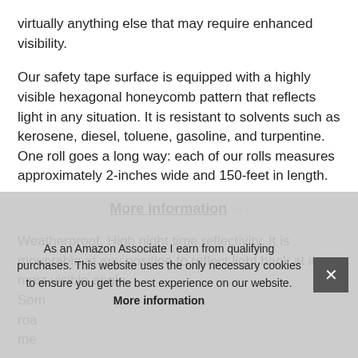virtually anything else that may require enhanced visibility.
Our safety tape surface is equipped with a highly visible hexagonal honeycomb pattern that reflects light in any situation. It is resistant to solvents such as kerosene, diesel, toluene, gasoline, and turpentine. One roll goes a long way: each of our rolls measures approximately 2-inches wide and 150-feet in length.
More information #ad
Weatherproof. High night time reflectivity. It is mountable at any position to reflect light back at its most visible angle. Som[e]... road[...] med[...]
Las[t...]
it will mold and conform better than other films. Clearly
As an Amazon Associate I earn from qualifying purchases. This website uses the only necessary cookies to ensure you get the best experience on our website. More information